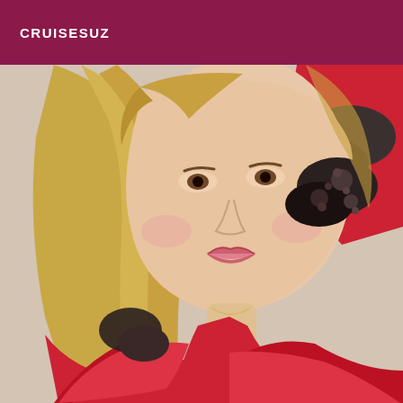CRUISESUZ
[Figure (photo): A woman with long blonde hair wearing a red velvet dress with ornate dark beaded shoulder embellishments, posing with arms crossed, smiling at the camera. The background is slightly blurred.]